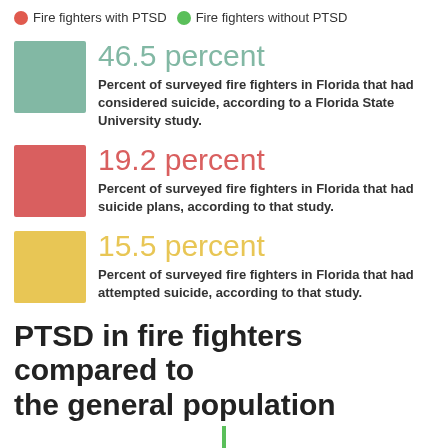[Figure (infographic): Legend showing two categories: Fire fighters with PTSD (red circle) and Fire fighters without PTSD (green circle)]
46.5 percent — Percent of surveyed fire fighters in Florida that had considered suicide, according to a Florida State University study.
19.2 percent — Percent of surveyed fire fighters in Florida that had suicide plans, according to that study.
15.5 percent — Percent of surveyed fire fighters in Florida that had attempted suicide, according to that study.
PTSD in fire fighters compared to the general population